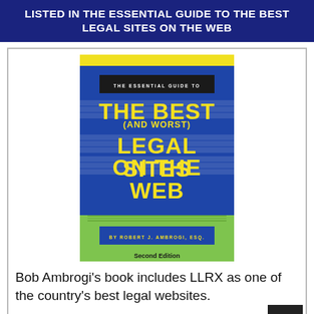LISTED IN THE ESSENTIAL GUIDE TO THE BEST LEGAL SITES ON THE WEB
[Figure (illustration): Book cover of 'The Essential Guide to The Best (And Worst) Legal Sites on the Web' by Robert J. Ambrogi, Esq., Second Edition. Cover has yellow strip at top, large blue section with yellow title text, green bottom section with author name and edition.]
Bob Ambrogi's book includes LLRX as one of the country's best legal websites.